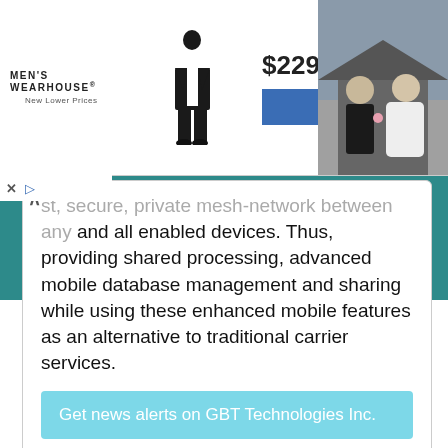[Figure (photo): Men's Wearhouse advertisement banner showing tuxedo for $229.99 with VIEW button and wedding couple photo]
st, secure, private mesh-network between any and all enabled devices. Thus, providing shared processing, advanced mobile database management and sharing while using these enhanced mobile features as an alternative to traditional carrier services.
Get news alerts on GBT Technologies Inc.
[Figure (logo): Blockchain Association of Canada logo - circular red badge with maple leaf network design and BAC text]